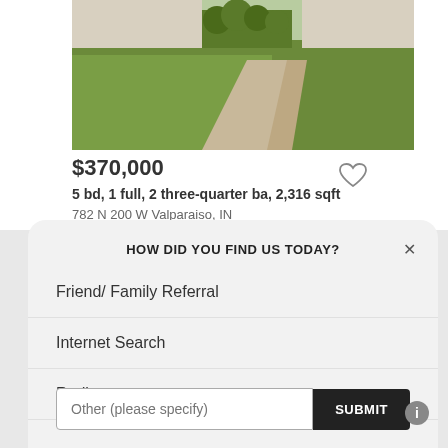[Figure (photo): Aerial/street-level photo of a rural property with grass lawn, gravel driveway leading to a house in the background]
$370,000
5 bd, 1 full, 2 three-quarter ba, 2,316 sqft
782 N 200 W Valparaiso, IN
HOW DID YOU FIND US TODAY?
Friend/ Family Referral
Internet Search
Radio
Other (please specify)
SUBMIT